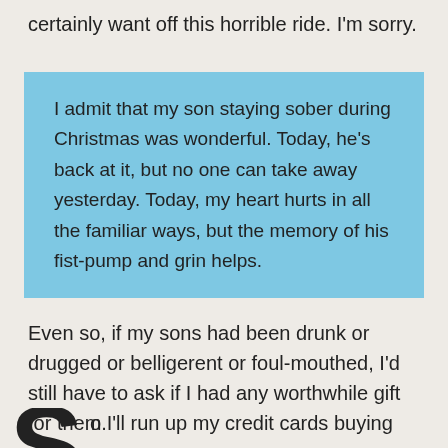certainly want off this horrible ride. I'm sorry.
I admit that my son staying sober during Christmas was wonderful. Today, he's back at it, but no one can take away yesterday. Today, my heart hurts in all the familiar ways, but the memory of his fist-pump and grin helps.
Even so, if my sons had been drunk or drugged or belligerent or foul-mouthed, I'd still have to ask if I had any worthwhile gift for them.
o I'll run up my credit cards buying